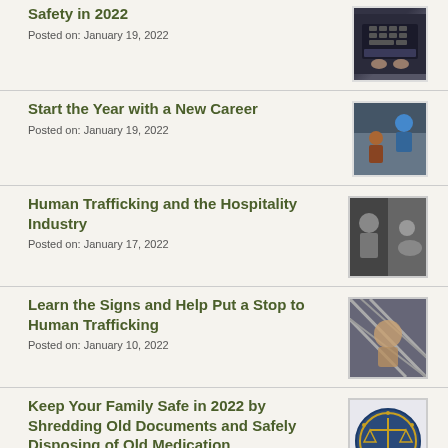Safety in 2022
Posted on: January 19, 2022
Start the Year with a New Career
Posted on: January 19, 2022
Human Trafficking and the Hospitality Industry
Posted on: January 17, 2022
Learn the Signs and Help Put a Stop to Human Trafficking
Posted on: January 10, 2022
Keep Your Family Safe in 2022 by Shredding Old Documents and Safely Disposing of Old Medication
Posted on: January 6, 2022
Defendant Sentenced for Brutal Beating of